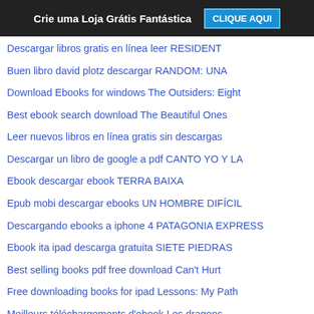Crie uma Loja Grátis Fantástica   CLIQUE AQUI
Descargar libros gratis en línea leer RESIDENT
Buen libro david plotz descargar RANDOM: UNA
Download Ebooks for windows The Outsiders: Eight
Best ebook search download The Beautiful Ones
Leer nuevos libros en línea gratis sin descargas
Descargar un libro de google a pdf CANTO YO Y LA
Ebook descargar ebook TERRA BAIXA
Epub mobi descargar ebooks UN HOMBRE DIFÍCIL
Descargando ebooks a iphone 4 PATAGONIA EXPRESS
Ebook ita ipad descarga gratuita SIETE PIEDRAS
Best selling books pdf free download Can't Hurt
Free downloading books for ipad Lessons: My Path
Meilleurs téléchargements d'ebook Les dragons
Ebook télécharger pour mobile gratuitement Le